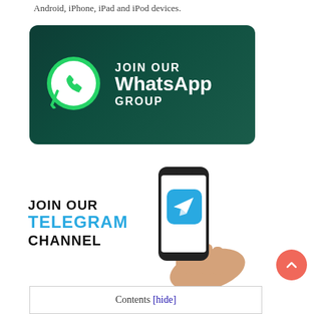Android, iPhone, iPad and iPod devices.
[Figure (illustration): WhatsApp group join banner with dark green background, WhatsApp logo on the left, and text 'JOIN OUR WhatsApp GROUP' in white on the right.]
[Figure (illustration): Telegram channel join banner with white background, text 'JOIN OUR TELEGRAM CHANNEL' on the left with cyan/blue color for TELEGRAM, and a hand holding a phone displaying the Telegram logo on the right.]
Contents [hide]